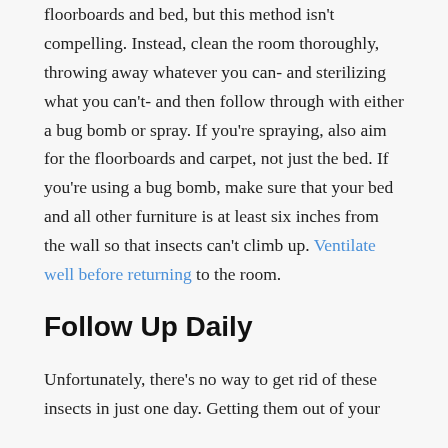floorboards and bed, but this method isn't compelling. Instead, clean the room thoroughly, throwing away whatever you can- and sterilizing what you can't- and then follow through with either a bug bomb or spray. If you're spraying, also aim for the floorboards and carpet, not just the bed. If you're using a bug bomb, make sure that your bed and all other furniture is at least six inches from the wall so that insects can't climb up. Ventilate well before returning to the room.
Follow Up Daily
Unfortunately, there's no way to get rid of these insects in just one day. Getting them out of your